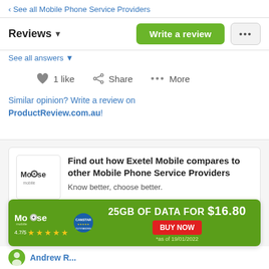‹ See all Mobile Phone Service Providers
Reviews ▾
Write a review
See all answers ▾
1 like   Share   ••• More
Similar opinion? Write a review on ProductReview.com.au!
Find out how Exetel Mobile compares to other Mobile Phone Service Providers
Know better, choose better.
[Figure (logo): MoOse Mobile logo in a square box]
[Figure (infographic): MoOse Mobile advertisement banner: 25GB OF DATA FOR $16.80, BUY NOW, 4.7/5 stars, *as of 19/01/2022]
Andrew R...